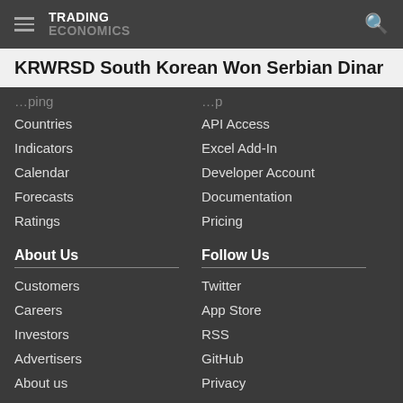TRADING ECONOMICS
KRWRSD South Korean Won Serbian Dinar
Countries
Indicators
Calendar
Forecasts
Ratings
API Access
Excel Add-In
Developer Account
Documentation
Pricing
About Us
Customers
Careers
Investors
Advertisers
About us
Follow Us
Twitter
App Store
RSS
GitHub
Privacy
Copyright ©2022 TRADING ECONOMICS
All Rights Reserved